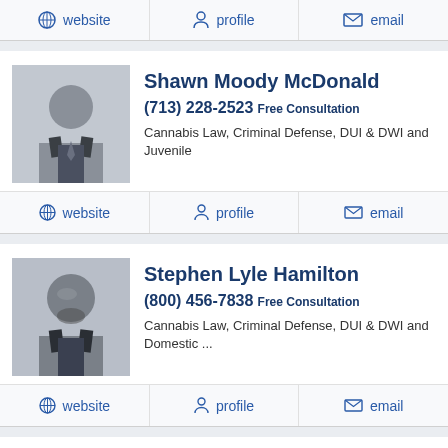website | profile | email
[Figure (photo): Photo of Shawn Moody McDonald, attorney headshot in suit]
Shawn Moody McDonald
(713) 228-2523 Free Consultation
Cannabis Law, Criminal Defense, DUI & DWI and Juvenile
website | profile | email
[Figure (photo): Photo of Stephen Lyle Hamilton, attorney headshot in suit]
Stephen Lyle Hamilton
(800) 456-7838 Free Consultation
Cannabis Law, Criminal Defense, DUI & DWI and Domestic ...
website | profile | email
[Figure (photo): Photo of Brent Mayr, attorney headshot]
Brent Mayr